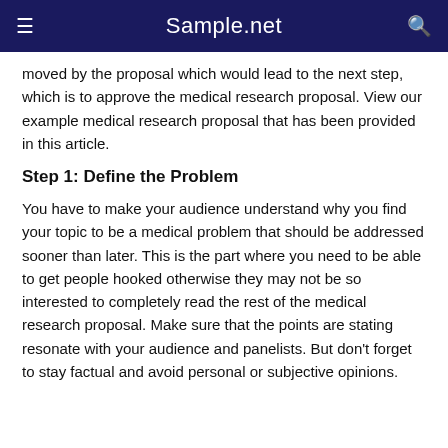Sample.net
moved by the proposal which would lead to the next step, which is to approve the medical research proposal. View our example medical research proposal that has been provided in this article.
Step 1: Define the Problem
You have to make your audience understand why you find your topic to be a medical problem that should be addressed sooner than later. This is the part where you need to be able to get people hooked otherwise they may not be so interested to completely read the rest of the medical research proposal. Make sure that the points are stating resonate with your audience and panelists. But don't forget to stay factual and avoid personal or subjective opinions.